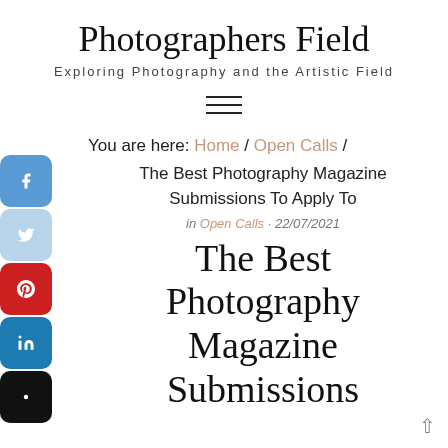Photographers Field
Exploring Photography and the Artistic Field
[Figure (other): Hamburger menu icon with three horizontal lines]
[Figure (other): Social media sidebar with Facebook, Twitter, Pinterest, LinkedIn, and black icon buttons on the left side]
You are here: Home / Open Calls / The Best Photography Magazine Submissions To Apply To
in Open Calls · 22/07/2021
The Best Photography Magazine Submissions